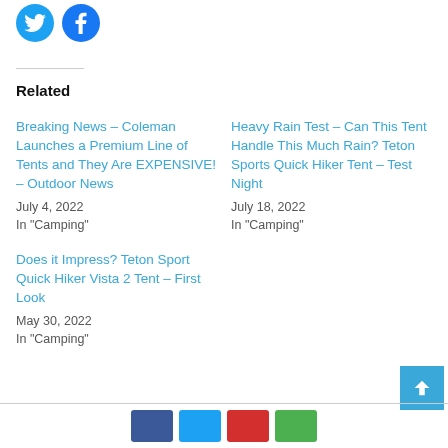[Figure (other): Twitter and Facebook social share icon circles at top left]
Related
Breaking News – Coleman Launches a Premium Line of Tents and They Are EXPENSIVE! – Outdoor News
July 4, 2022
In "Camping"
Heavy Rain Test – Can This Tent Handle This Much Rain? Teton Sports Quick Hiker Tent – Test Night
July 18, 2022
In "Camping"
Does it Impress? Teton Sport Quick Hiker Vista 2 Tent – First Look
May 30, 2022
In "Camping"
[Figure (other): Row of social share buttons (dark blue, light blue, red, green) at bottom center]